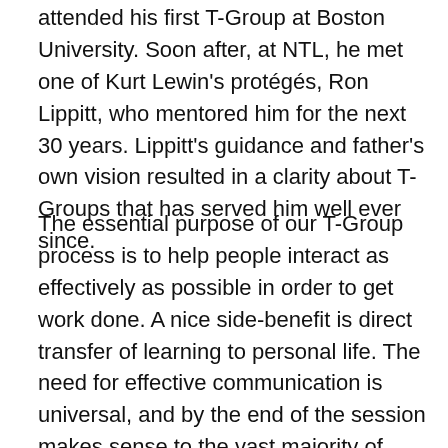attended his first T-Group at Boston University. Soon after, at NTL, he met one of Kurt Lewin's protégés, Ron Lippitt, who mentored him for the next 30 years. Lippitt's guidance and father's own vision resulted in a clarity about T-Groups that has served him well ever since.
The essential purpose of our T-Group process is to help people interact as effectively as possible in order to get work done. A nice side-benefit is direct transfer of learning to personal life. The need for effective communication is universal, and by the end of the session makes sense to the vast majority of participants no matter what their role is in their organization. It's the same goal we bring to working with intact work teams, to “whole systems” interventions with a cross-section of an organization, to individual coaching, etc. That is, how to do the best job of being